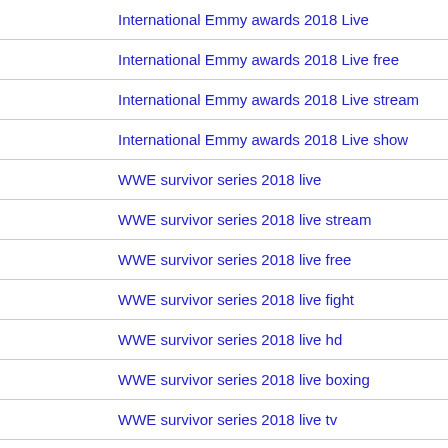International Emmy awards 2018 Live
International Emmy awards 2018 Live free
International Emmy awards 2018 Live stream
International Emmy awards 2018 Live show
WWE survivor series 2018 live
WWE survivor series 2018 live stream
WWE survivor series 2018 live free
WWE survivor series 2018 live fight
WWE survivor series 2018 live hd
WWE survivor series 2018 live boxing
WWE survivor series 2018 live tv